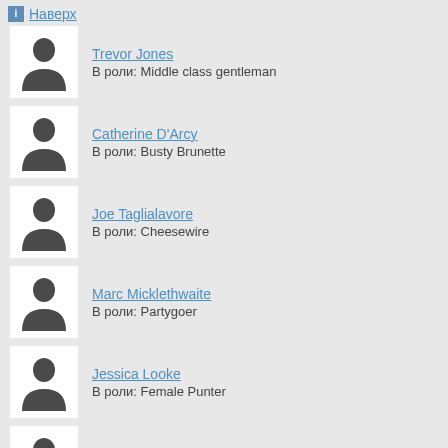Наверх
Trevor Jones — В роли: Middle class gentleman
Catherine D'Arcy — В роли: Busty Brunette
Joe Taglialavore — В роли: Cheesewire
Marc Micklethwaite — В роли: Partygoer
Jessica Looke — В роли: Female Punter
Adomas Miklys — В роли: Classy Dresser Fighter